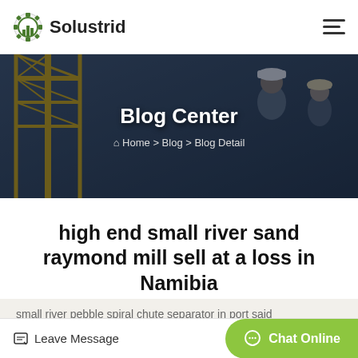Solustrid
[Figure (screenshot): Hero banner background showing industrial workers in hard hats with a yellow crane structure, overlaid with dark tint]
Blog Center
Home > Blog > Blog Detail
high end small river sand raymond mill sell at a loss in Namibia
small river pebble spiral chute separator in port said
Leave Message
Chat Online